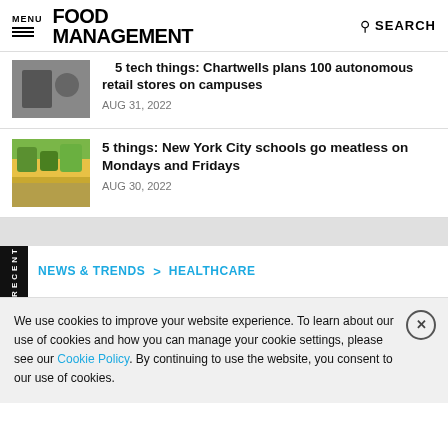MENU | FOOD MANAGEMENT | SEARCH
5 tech things: Chartwells plans 100 autonomous retail stores on campuses
AUG 31, 2022
5 things: New York City schools go meatless on Mondays and Fridays
AUG 30, 2022
RECENT
NEWS & TRENDS > HEALTHCARE
We use cookies to improve your website experience. To learn about our use of cookies and how you can manage your cookie settings, please see our Cookie Policy. By continuing to use the website, you consent to our use of cookies.